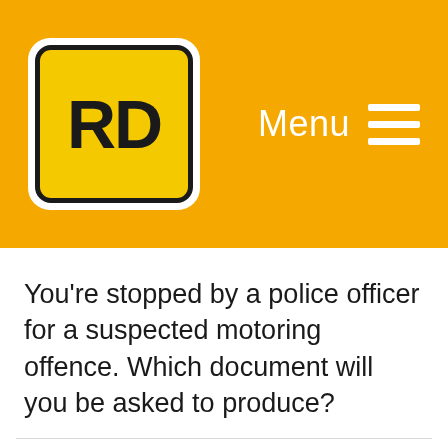[Figure (logo): RD logo in yellow rounded square on orange header background]
You're stopped by a police officer for a suspected motoring offence. Which document will you be asked to produce?
Possible answers:
A. Your driving licence
B. Your vehicle registration document